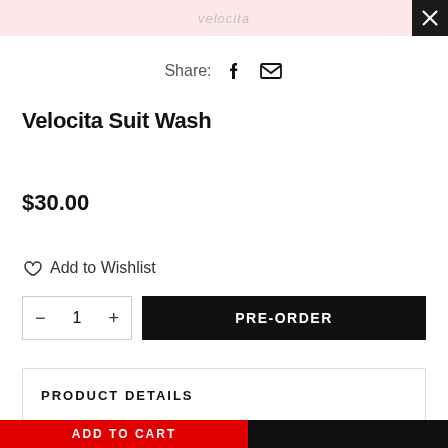Velocita logo header with close button
Share:
Velocita Suit Wash
$30.00
Add to Wishlist
- 1 +
PRE-ORDER
PRODUCT DETAILS
ADD TO CART